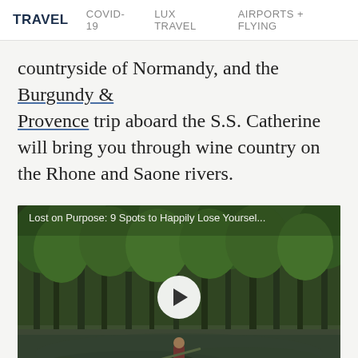TRAVEL   COVID-19   LUX TRAVEL   AIRPORTS + FLYING
countryside of Normandy, and the Burgundy & Provence trip aboard the S.S. Catherine will bring you through wine country on the Rhone and Saone rivers.
[Figure (photo): Video thumbnail showing a person kayaking on a calm swamp or bayou surrounded by tall cypress trees. A white circular play button is centered on the image. Text overlay reads: 'Lost on Purpose: 9 Spots to Happily Lose Yoursel...']